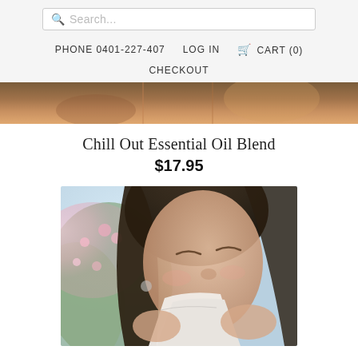Search... | PHONE 0401-227-407 | LOG IN | CART (0) | CHECKOUT
[Figure (photo): Partial top image showing what appears to be hands, cropped at top]
Chill Out Essential Oil Blend
$17.95
[Figure (photo): Photo of a young woman with dark hair blowing her nose into a tissue, cherry blossom tree in background]